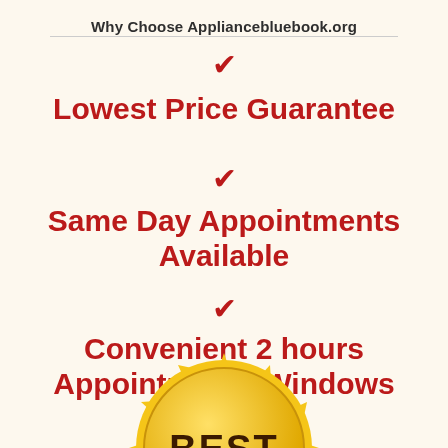Why Choose Appliancebluebook.org
✔ Lowest Price Guarantee
✔ Same Day Appointments Available
✔ Convenient 2 hours Appointments Windows
[Figure (illustration): Gold starburst badge with the word BEST in bold dark text]